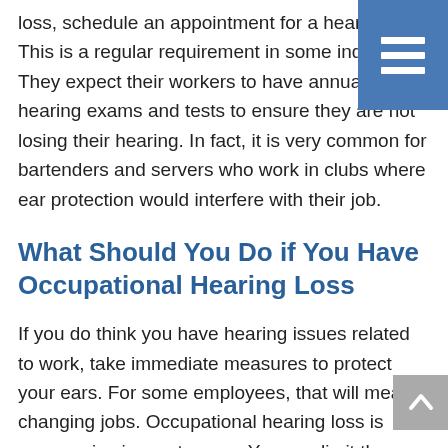loss, schedule an appointment for a hearing test. This is a regular requirement in some industries. They expect their workers to have annual hearing exams and tests to ensure they are not losing their hearing. In fact, it is very common for bartenders and servers who work in clubs where ear protection would interfere with their job.
What Should You Do if You Have Occupational Hearing Loss
If you do think you have hearing issues related to work, take immediate measures to protect your ears. For some employees, that will mean changing jobs. Occupational hearing loss is progressive in most cases. You can limit the damage by avoiding loud noise in the future.